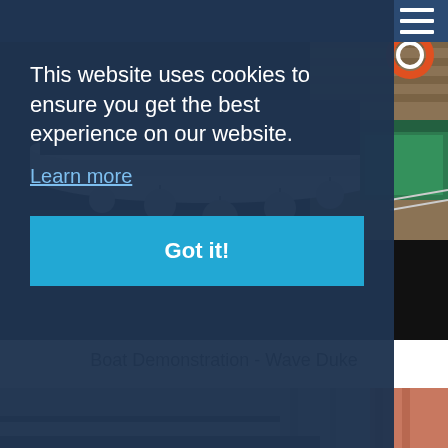Navigation header bar with hamburger menu
[Figure (photo): Photo of boats moored at a marina dock, showing white boat hull with fenders hanging over dark water, green boat at right, wooden dock visible]
This website uses cookies to ensure you get the best experience on our website.
Learn more
Got it!
Boat Demonstration - Wave Duke
[Figure (photo): Partial photo of a boat interior/exterior showing cabin top, metal railings, and curtain in background]